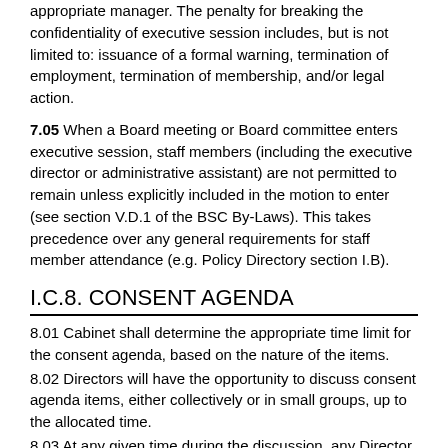appropriate manager. The penalty for breaking the confidentiality of executive session includes, but is not limited to: issuance of a formal warning, termination of employment, termination of membership, and/or legal action.
7.05 When a Board meeting or Board committee enters executive session, staff members (including the executive director or administrative assistant) are not permitted to remain unless explicitly included in the motion to enter (see section V.D.1 of the BSC By-Laws). This takes precedence over any general requirements for staff member attendance (e.g. Policy Directory section I.B).
I.C.8. CONSENT AGENDA
8.01 Cabinet shall determine the appropriate time limit for the consent agenda, based on the nature of the items.
8.02 Directors will have the opportunity to discuss consent agenda items, either collectively or in small groups, up to the allocated time.
8.03 At any given time during the discussion, any Director may call a motion to end the discussion and move on to deliberate whether items will remain or be removed from the consent calendar.
8.04 Items may be removed from the consent agenda by 4 Directors from at least 2 different units.
8.05 All items removed from the consent agenda will be placed at the beginning or end of the Board agenda.